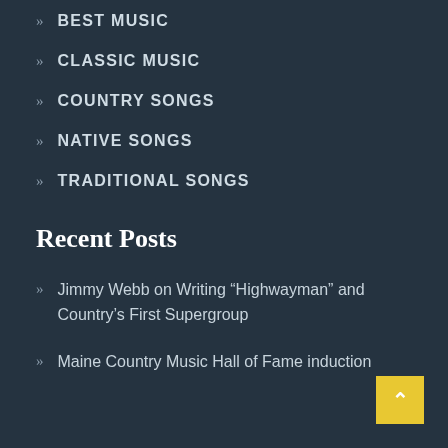BEST MUSIC
CLASSIC MUSIC
COUNTRY SONGS
NATIVE SONGS
TRADITIONAL SONGS
Recent Posts
Jimmy Webb on Writing “Highwayman” and Country’s First Supergroup
Maine Country Music Hall of Fame induction